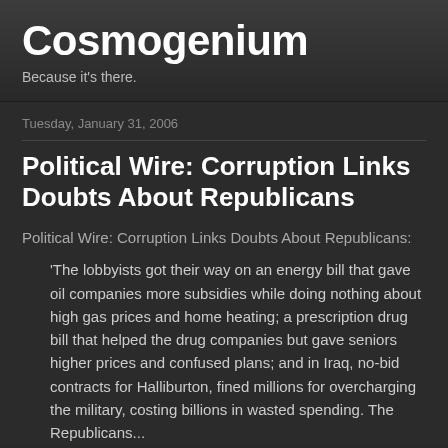Cosmogenium
Because it's there.
Tuesday, January 31, 2006
Political Wire: Corruption Links Doubts About Republicans
Political Wire: Corruption Links Doubts About Republicans:
'The lobbyists got their way on an energy bill that gave oil companies more subsidies while doing nothing about high gas prices and home heating; a prescription drug bill that helped the drug companies but gave seniors higher prices and confused plans; and in Iraq, no-bid contracts for Halliburton, fined millions for overcharging the military, costing billions in wasted spending. The Republicans...